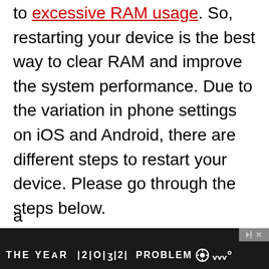to excessive RAM usage. So, restarting your device is the best way to clear RAM and improve the system performance. Due to the variation in phone settings on iOS and Android, there are different steps to restart your device. Please go through the steps below.
For iOS
There is no restart button on iOS.
However, you can switch off your phone a
[Figure (screenshot): Advertisement banner at bottom of page showing 'THE YEAR | 2 | O | 3 | 2 | PROBLEM' with gear icon and wave icon on dark background, with close/skip button in top right corner]